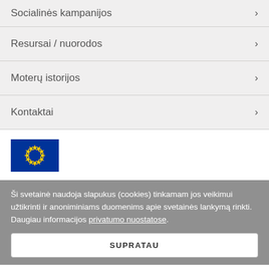Socialinės kampanijos
Resursai / nuorodos
Moterų istorijos
Kontaktai
[Figure (logo): EU flag — blue rectangle with circle of 12 gold stars]
Ši svetainė naudoja slapukus (cookies) tinkamam jos veikimui užtikrinti ir anoniminiams duomenims apie svetainės lankymą rinkti. Daugiau informacijos privatumo nuostatose.
SUPRATAU